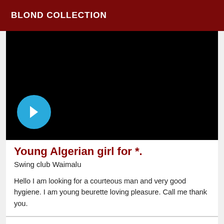BLOND COLLECTION
[Figure (screenshot): Black video player area with a blue circular back/play button in the lower left corner]
Young Algerian girl for *.
Swing club Waimalu
Hello I am looking for a courteous man and very good hygiene. I am young beurette loving pleasure. Call me thank you.